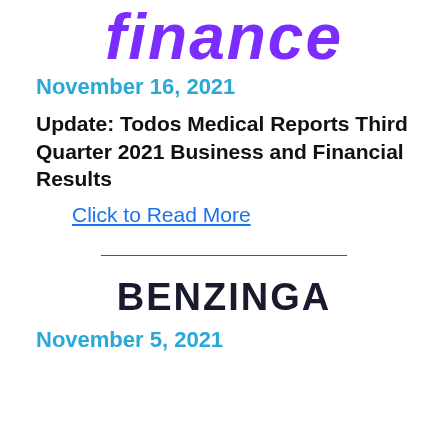finance
November 16, 2021
Update: Todos Medical Reports Third Quarter 2021 Business and Financial Results
Click to Read More
[Figure (logo): BENZINGA logo in bold dark navy text]
November 5, 2021